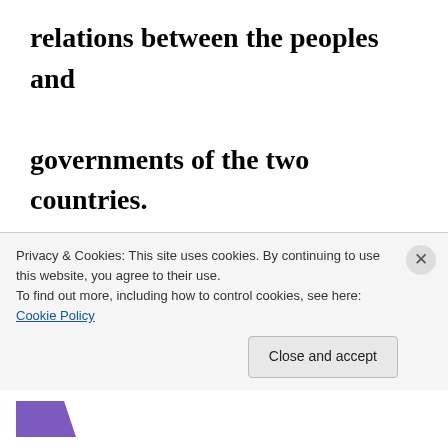relations between the peoples and governments of the two countries. Stating that Eritrean-Sudanese ties is historic and rests on solid ground, Dr. Mustafa underlined that President Isaias Afwerki's participation at the signing of
Privacy & Cookies: This site uses cookies. By continuing to use this website, you agree to their use.
To find out more, including how to control cookies, see here: Cookie Policy
Close and accept